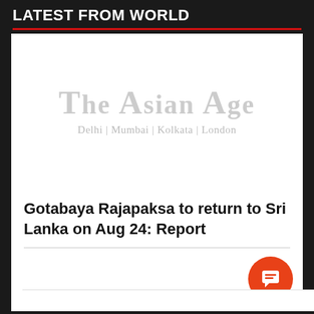LATEST FROM WORLD
[Figure (logo): The Asian Age newspaper logo with tagline 'Delhi | Mumbai | Kolkata | London', displayed in light grey on white background]
Gotabaya Rajapaksa to return to Sri Lanka on Aug 24: Report